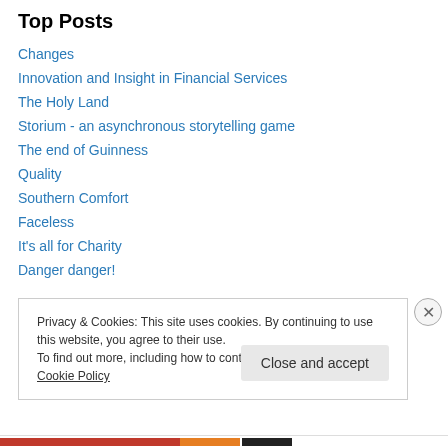Top Posts
Changes
Innovation and Insight in Financial Services
The Holy Land
Storium - an asynchronous storytelling game
The end of Guinness
Quality
Southern Comfort
Faceless
It's all for Charity
Danger danger!
Privacy & Cookies: This site uses cookies. By continuing to use this website, you agree to their use. To find out more, including how to control cookies, see here: Cookie Policy
Close and accept